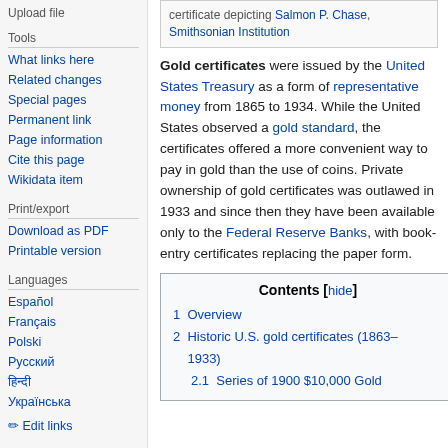Upload file
Tools
What links here
Related changes
Special pages
Permanent link
Page information
Cite this page
Wikidata item
Print/export
Download as PDF
Printable version
Languages
Español
Français
Polski
Русский
हिन्दी
Українська
✏ Edit links
certificate depicting Salmon P. Chase, Smithsonian Institution
Gold certificates were issued by the United States Treasury as a form of representative money from 1865 to 1934. While the United States observed a gold standard, the certificates offered a more convenient way to pay in gold than the use of coins. Private ownership of gold certificates was outlawed in 1933 and since then they have been available only to the Federal Reserve Banks, with book-entry certificates replacing the paper form.
| Contents [hide] |
| 1  Overview |
| 2  Historic U.S. gold certificates (1863–1933) |
| 2.1  Series of 1900 $10,000 Gold |